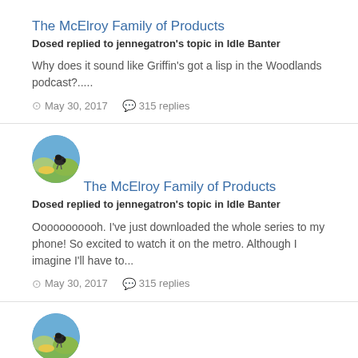The McElroy Family of Products
Dosed replied to jennegatron's topic in Idle Banter
Why does it sound like Griffin's got a lisp in the Woodlands podcast?.....
May 30, 2017   315 replies
[Figure (illustration): Circular avatar with cartoon character on green and blue background]
The McElroy Family of Products
Dosed replied to jennegatron's topic in Idle Banter
Ooooooooooh. I've just downloaded the whole series to my phone! So excited to watch it on the metro. Although I imagine I'll have to...
May 30, 2017   315 replies
[Figure (illustration): Circular avatar with cartoon character on green and blue background]
Overwatch - That time Blizzard made a non-